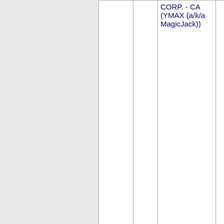| NPA-NXX | State | Company | OCN |
| --- | --- | --- | --- |
|  |  | CORP. - CA (YMAX (a/k/a MagicJack)) |  |
| Thousands block for 805-991 |  |  |  |
| 805-991-6 | CA | YMAX COMMUNICATIONS CORP. - CA (YMAX (a/k/a MagicJack)) | 258E M |